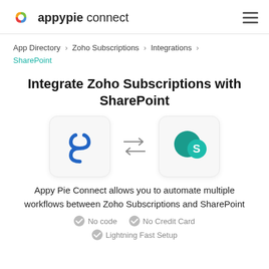appypie connect
App Directory > Zoho Subscriptions > Integrations > SharePoint
Integrate Zoho Subscriptions with SharePoint
[Figure (illustration): Zoho Subscriptions logo icon on the left and SharePoint logo icon on the right, connected by bidirectional arrows in the center]
Appy Pie Connect allows you to automate multiple workflows between Zoho Subscriptions and SharePoint
No code  No Credit Card  Lightning Fast Setup